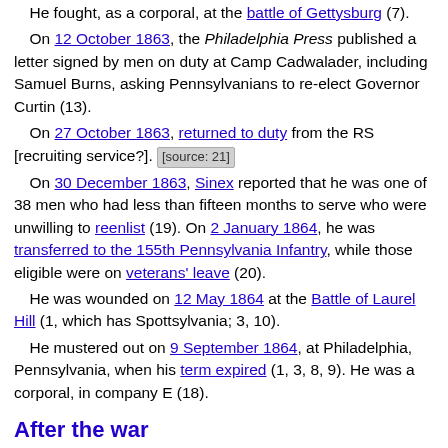He fought, as a corporal, at the battle of Gettysburg (7).
On 12 October 1863, the Philadelphia Press published a letter signed by men on duty at Camp Cadwalader, including Samuel Burns, asking Pennsylvanians to re-elect Governor Curtin (13).
On 27 October 1863, returned to duty from the RS [recruiting service?]. [source: 21]
On 30 December 1863, Sinex reported that he was one of 38 men who had less than fifteen months to serve who were unwilling to reenlist (19). On 2 January 1864, he was transferred to the 155th Pennsylvania Infantry, while those eligible were on veterans' leave (20).
He was wounded on 12 May 1864 at the Battle of Laurel Hill (1, which has Spottsylvania; 3, 10).
He mustered out on 9 September 1864, at Philadelphia, Pennsylvania, when his term expired (1, 3, 8, 9). He was a corporal, in company E (18).
After the war